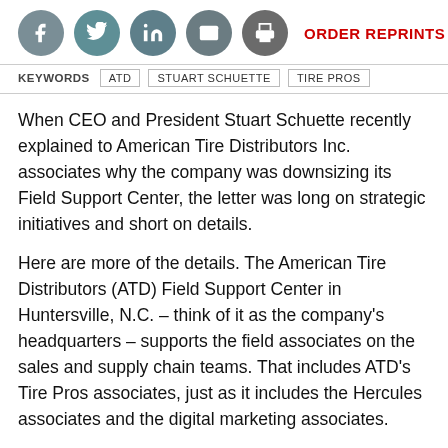[Figure (other): Social media sharing icons: Facebook, Twitter, LinkedIn, Email, Print; followed by ORDER REPRINTS link]
KEYWORDS  ATD  STUART SCHUETTE  TIRE PROS
When CEO and President Stuart Schuette recently explained to American Tire Distributors Inc. associates why the company was downsizing its Field Support Center, the letter was long on strategic initiatives and short on details.
Here are more of the details. The American Tire Distributors (ATD) Field Support Center in Huntersville, N.C. – think of it as the company's headquarters – supports the field associates on the sales and supply chain teams. That includes ATD's Tire Pros associates, just as it includes the Hercules associates and the digital marketing associates.
Of the people affected, some positions supporting the Tire Pros franchise program were also reorganized. ATD did not reveal the number of positions eliminated; according to a story on www.bloomberg.com, the reorganization "includes